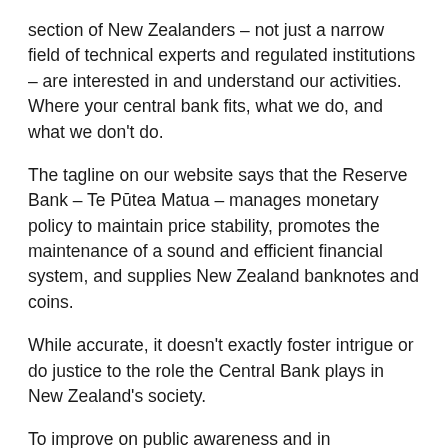section of New Zealanders – not just a narrow field of technical experts and regulated institutions – are interested in and understand our activities. Where your central bank fits, what we do, and what we don't do.
The tagline on our website says that the Reserve Bank – Te Pūtea Matua – manages monetary policy to maintain price stability, promotes the maintenance of a sound and efficient financial system, and supplies New Zealand banknotes and coins.
While accurate, it doesn't exactly foster intrigue or do justice to the role the Central Bank plays in New Zealand's society.
To improve on public awareness and in partnership with northern hapu Te Roroa, 3 we recently chose to tell our story – the story of Te Pūtea Matua – using the Māori legend of Tāne Mahuta. 4
The Reserve Bank has long adopted a role akin to the being the Tāne Mahuta of New Zealand's financial landscape.
Our roots are our legislation, outlining our purpose and giving us